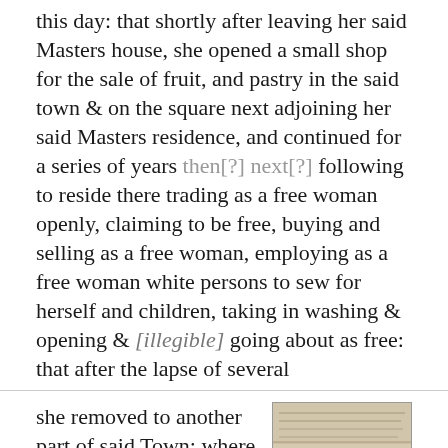this day: that shortly after leaving her said Masters house, she opened a small shop for the sale of fruit, and pastry in the said town & on the square next adjoining her said Masters residence, and continued for a series of years then[?] next[?] following to reside there trading as a free woman openly, claiming to be free, buying and selling as a free woman, employing as a free woman white persons to sew for herself and children, taking in washing & opening & [illegible] going about as free: that after the lapse of several
she removed to another part of said Town; where she carried on the same sort of business, and in addition thereto kept a vegetable garden, & sold vegetables in the public market,
[Figure (photo): Photograph of a handwritten manuscript document with aged paper showing multiple lines of cursive text in ink, appearing to be a historical legal or court document.]